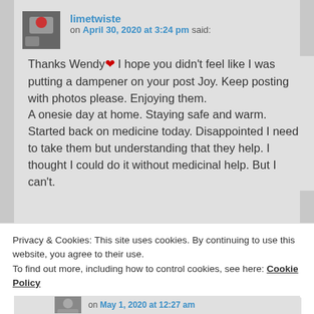limetwiste on April 30, 2020 at 3:24 pm said:
Thanks Wendy ❤ I hope you didn't feel like I was putting a dampener on your post Joy. Keep posting with photos please. Enjoying them. A onesie day at home. Staying safe and warm. Started back on medicine today. Disappointed I need to take them but understanding that they help. I thought I could do it without medicinal help. But I can't.
Privacy & Cookies: This site uses cookies. By continuing to use this website, you agree to their use. To find out more, including how to control cookies, see here: Cookie Policy
Close and accept
on May 1, 2020 at 12:27 am